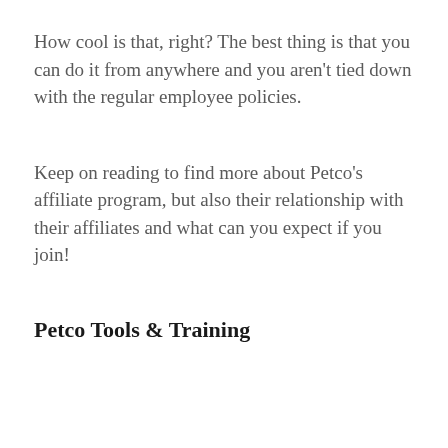How cool is that, right? The best thing is that you can do it from anywhere and you aren't tied down with the regular employee policies.
Keep on reading to find more about Petco's affiliate program, but also their relationship with their affiliates and what can you expect if you join!
Petco Tools & Training